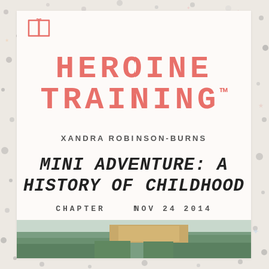[Figure (illustration): Open book icon in salmon/coral color, outline style, top left of inner page]
HEROINE TRAINING™
XANDRA ROBINSON-BURNS
MINI ADVENTURE: A HISTORY OF CHILDHOOD
CHAPTER    NOV 24 2014
[Figure (photo): Outdoor nature photo showing trees and a tan/gold colored structure or surface, partially visible at the bottom of the page]